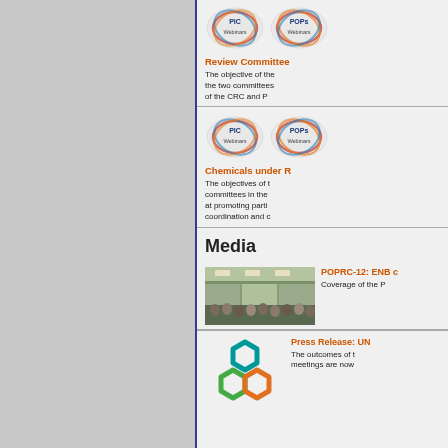[Figure (logo): Two circular webinar logos (PIC Webinars and POPs Webinars) for Review Committee section]
Review Committee
The objective of the two committees of the CRC and P
[Figure (logo): Two circular webinar logos (PIC Webinars and POPs Webinars) for Chemicals under Review section]
Chemicals under R
The objectives of committees in the at promoting parti coordination and c
Media
[Figure (photo): Conference hall with audience seated, POPRC-12 meeting coverage photo]
POPRC-12: ENB c
Coverage of the P
[Figure (logo): Hexagonal geometric logo in teal, green and orange colors]
Press Release: UN
The outcomes of the meetings are now